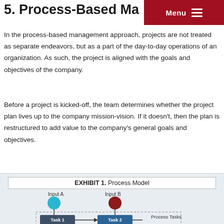5. Process-Based Management
In the process-based management approach, projects are not treated as separate endeavors, but as a part of the day-to-day operations of an organization. As such, the project is aligned with the goals and objectives of the company.
Before a project is kicked-off, the team determines whether the project plan lives up to the company mission-vision. If it doesn't, then the plan is restructured to add value to the company's general goals and objectives.
[Figure (flowchart): Process model flowchart showing Input A (blue circle) and Input B (red circle) feeding down into Task 1 (dark blue-gray box) and Task 2 (blue box) connected by arrows, with a 'Process Tasks' label. A dashed border surrounds the task area.]